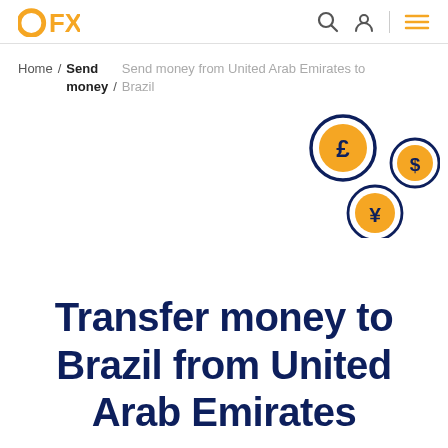OFX logo, search icon, user icon, menu icon
Home / Send money / Send money from United Arab Emirates to Brazil
[Figure (illustration): Three currency coin circles with pound (£), dollar ($), and yen (¥) symbols in orange on dark navy outlines]
Transfer money to Brazil from United Arab Emirates